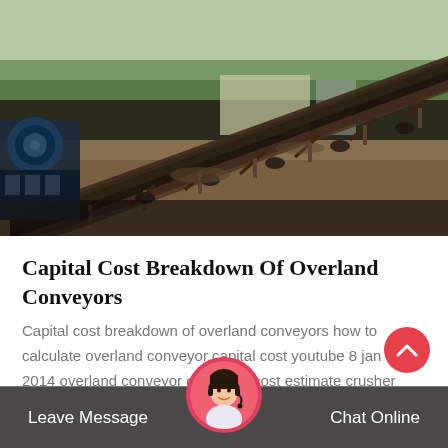[Figure (photo): Photo of an industrial overland conveyor belt system at an outdoor mining/construction site, showing a large inclined belt conveyor with metal frame structure, heavy machinery, dirt ground, trees and structures in background.]
Capital Cost Breakdown Of Overland Conveyors
Capital cost breakdown of overland conveyors how to calculate overland conveyor capital cost youtube 8 jan 2014 overland conveyor operating cost estimate crusher overland
[Figure (photo): Customer service agent avatar - young woman with headset, shown in circular frame with pink/red border, used as chat support button.]